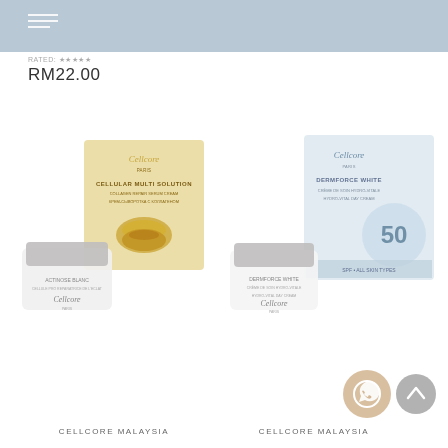RM22.00
[Figure (photo): Cellcore Paris Multi Solution cream jar with golden box packaging showing lips design]
[Figure (photo): Cellcore Paris Dermforce White hydro-vital cream jar with white/blue box packaging showing 50 label]
CELLCORE MALAYSIA
CELLCORE MALAYSIA